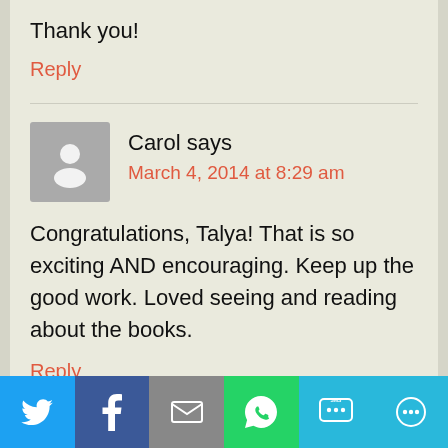Thank you!
Reply
Carol says
March 4, 2014 at 8:29 am
Congratulations, Talya! That is so exciting AND encouraging. Keep up the good work. Loved seeing and reading about the books.
Reply
[Figure (infographic): Social sharing bar with Twitter, Facebook, Email, WhatsApp, SMS, and More icons]